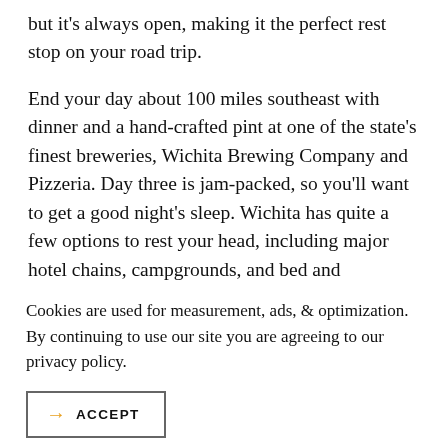but it's always open, making it the perfect rest stop on your road trip.
End your day about 100 miles southeast with dinner and a hand-crafted pint at one of the state's finest breweries, Wichita Brewing Company and Pizzeria. Day three is jam-packed, so you'll want to get a good night's sleep. Wichita has quite a few options to rest your head, including major hotel chains, campgrounds, and bed and breakfasts. The Inn at Glenstrae is a luxurious option...
[Figure (photo): Advertisement banner for Rolling Hills Zoo showing a chimpanzee photo on the left, bold heading 'EXPLORE ROLLING HILLS ZOO', subtext 'See 100+ different species of animals, visit the museum, and more!', and a close button (X) on the top right.]
Cookies are used for measurement, ads, & optimization. By continuing to use our site you are agreeing to our privacy policy.
ACCEPT